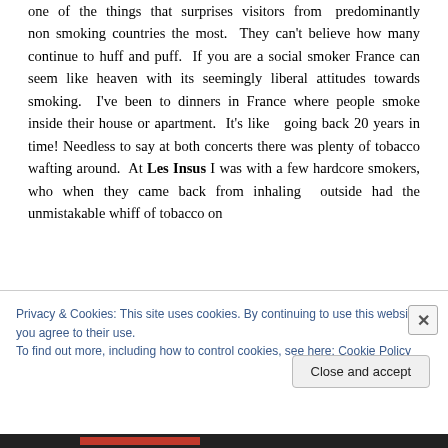one of the things that surprises visitors from predominantly non smoking countries the most. They can't believe how many continue to huff and puff. If you are a social smoker France can seem like heaven with its seemingly liberal attitudes towards smoking. I've been to dinners in France where people smoke inside their house or apartment. It's like going back 20 years in time! Needless to say at both concerts there was plenty of tobacco wafting around. At Les Insus I was with a few hardcore smokers, who when they came back from inhaling outside had the unmistakable whiff of tobacco on
Privacy & Cookies: This site uses cookies. By continuing to use this website, you agree to their use.
To find out more, including how to control cookies, see here: Cookie Policy
Close and accept